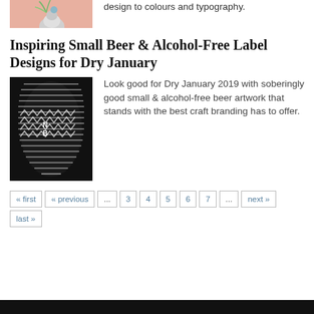[Figure (photo): Photo of a decorative white pedestal with a blue glass ball and green palm leaf on a pink background, partially visible at top.]
design to colours and typography.
Inspiring Small Beer & Alcohol-Free Label Designs for Dry January
[Figure (photo): Black and white photo of a cylindrical beer can/bottle with a bold geometric zigzag stripe pattern and letters 'N B' visible.]
Look good for Dry January 2019 with soberingly good small & alcohol-free beer artwork that stands with the best craft branding has to offer.
« first
« previous
...
3
4
5
6
7
...
next »
last »